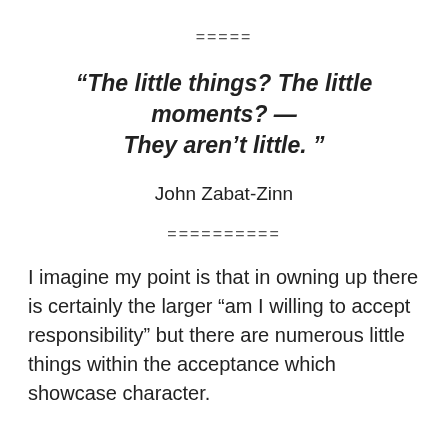=====
“The little things? The little moments? — They aren’t little. ”
John Zabat-Zinn
==========
I imagine my point is that in owning up there is certainly the larger “am I willing to accept responsibility” but there are numerous little things within the acceptance which showcase character.